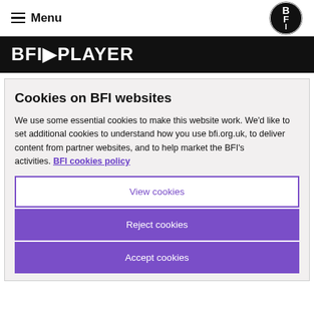≡ Menu [BFI logo]
BFI PLAYER
Cookies on BFI websites
We use some essential cookies to make this website work. We'd like to set additional cookies to understand how you use bfi.org.uk, to deliver content from partner websites, and to help market the BFI's activities. BFI cookies policy
View cookies
Reject cookies
Accept cookies